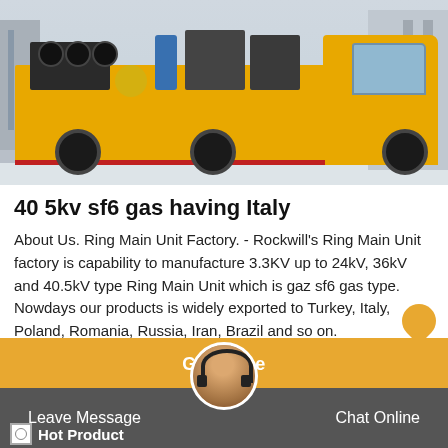[Figure (photo): Yellow industrial truck/service vehicle with equipment mounted on the back, parked in a snowy outdoor area near electrical infrastructure]
40 5kv sf6 gas having Italy
About Us. Ring Main Unit Factory. - Rockwill's Ring Main Unit factory is capability to manufacture 3.3KV up to 24kV, 36kV and 40.5kV type Ring Main Unit which is gaz sf6 gas type. Nowdays our products is widely exported to Turkey, Italy, Poland, Romania, Russia, Iran, Brazil and so on.
Get Price
Leave Message
Chat Online
Hot Product